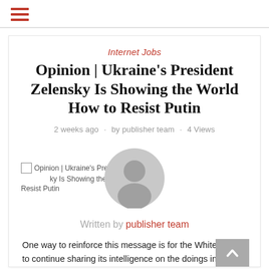☰ (hamburger menu icon)
Internet Jobs
Opinion | Ukraine's President Zelensky Is Showing the World How to Resist Putin
2 weeks ago · by publisher team · 4 Views
[Figure (photo): Broken image placeholder showing alt text: Opinion | Ukraine's President Zelensky Is Showing the World How to Resist Putin, with a circular avatar/profile image placeholder in grey]
Written by publisher team
One way to reinforce this message is for the White House to continue sharing its intelligence on the doings in the